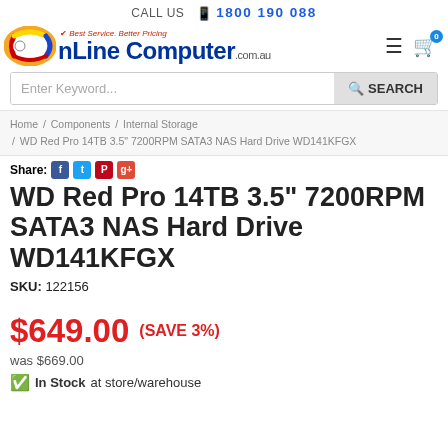CALL US  1800 190 088
[Figure (logo): OnLine Computer .com.au logo with colourful swirl and tagline 'Best Service. Better Pricing']
Enter Keyword... SEARCH
Home / Components / Internal Storage / WD Red Pro 14TB 3.5" 7200RPM SATA3 NAS Hard Drive WD141KFGX
Share:
WD Red Pro 14TB 3.5" 7200RPM SATA3 NAS Hard Drive WD141KFGX
SKU: 122156
$649.00 (SAVE 3%)
was $669.00
In Stock at store/warehouse